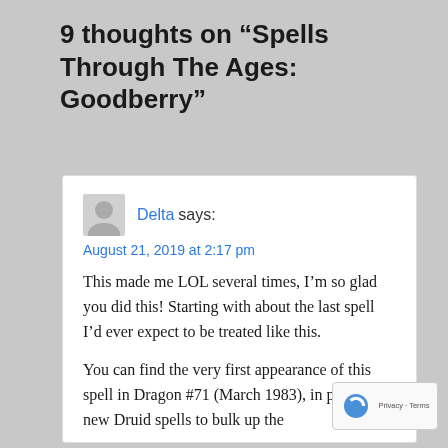9 thoughts on “Spells Through The Ages: Goodberry”
Delta says:
August 21, 2019 at 2:17 pm
This made me LOL several times, I’m so glad you did this! Starting with about the last spell I’d ever expect to be treated like this.
You can find the very first appearance of this spell in Dragon #71 (March 1983), in packet of new Druid spells to bulk up the